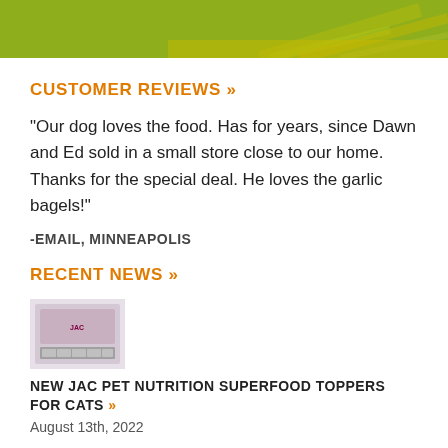[Figure (illustration): Green/olive colored header bar with decorative diagonal stripe elements in lower right]
CUSTOMER REVIEWS »
"Our dog loves the food. Has for years, since Dawn and Ed sold in a small store close to our home. Thanks for the special deal. He loves the garlic bagels!"
-EMAIL, MINNEAPOLIS
RECENT NEWS »
[Figure (photo): Small thumbnail image of a JAC pet food product package]
NEW JAC PET NUTRITION SUPERFOOD TOPPERS FOR CATS »
August 13th, 2022